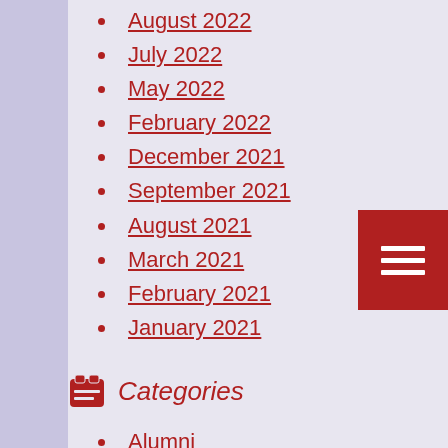August 2022
July 2022
May 2022
February 2022
December 2021
September 2021
August 2021
March 2021
February 2021
January 2021
Categories
Alumni
community service
Dance